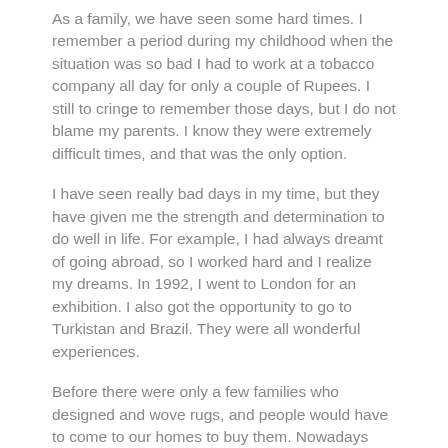As a family, we have seen some hard times. I remember a period during my childhood when the situation was so bad I had to work at a tobacco company all day for only a couple of Rupees. I still to cringe to remember those days, but I do not blame my parents. I know they were extremely difficult times, and that was the only option.
I have seen really bad days in my time, but they have given me the strength and determination to do well in life. For example, I had always dreamt of going abroad, so I worked hard and I realize my dreams. In 1992, I went to London for an exhibition. I also got the opportunity to go to Turkistan and Brazil. They were all wonderful experiences.
Before there were only a few families who designed and wove rugs, and people would have to come to our homes to buy them. Nowadays there are more opportunities for us weavers to